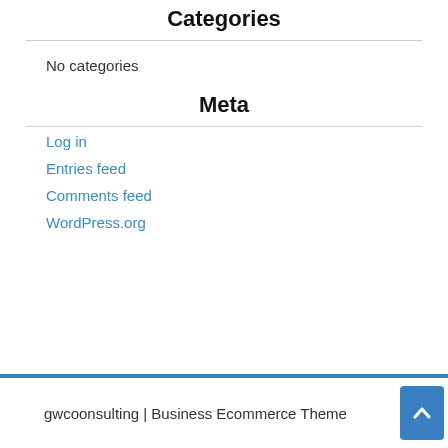Categories
No categories
Meta
Log in
Entries feed
Comments feed
WordPress.org
gwcoonsulting | Business Ecommerce Theme